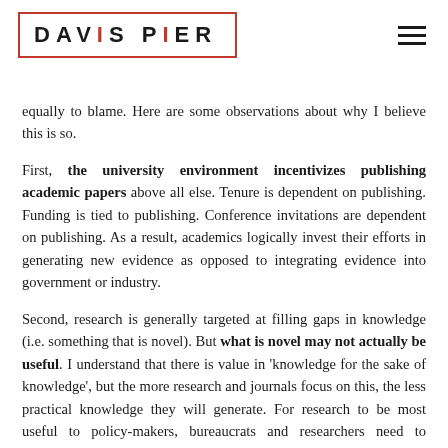DAVIS PIER
equally to blame. Here are some observations about why I believe this is so.
First, the university environment incentivizes publishing academic papers above all else. Tenure is dependent on publishing. Funding is tied to publishing. Conference invitations are dependent on publishing. As a result, academics logically invest their efforts in generating new evidence as opposed to integrating evidence into government or industry.
Second, research is generally targeted at filling gaps in knowledge (i.e. something that is novel). But what is novel may not actually be useful. I understand that there is value in 'knowledge for the sake of knowledge', but the more research and journals focus on this, the less practical knowledge they will generate. For research to be most useful to policy-makers, bureaucrats and researchers need to collaborate more in the early stages of